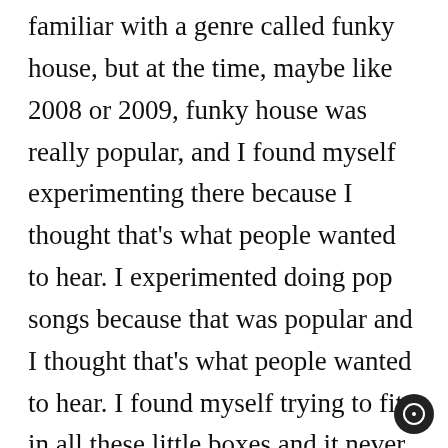familiar with a genre called funky house, but at the time, maybe like 2008 or 2009, funky house was really popular, and I found myself experimenting there because I thought that's what people wanted to hear. I experimented doing pop songs because that was popular and I thought that's what people wanted to hear. I found myself trying to fit in all these little boxes and it never ever felt right. I said to myself that it's not that I can't do these things, because I can, I've shown myself that I'm a versatile artist. But it's all off of feeling. I'm not going